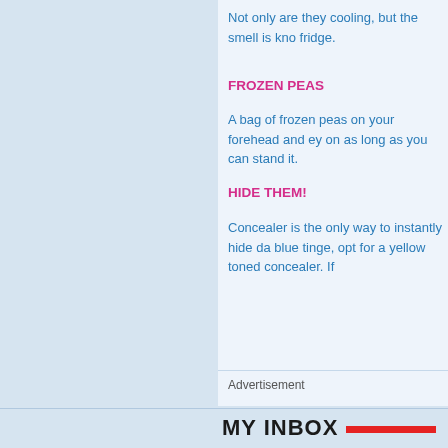Not only are they cooling, but the smell is kno fridge.
FROZEN PEAS
A bag of frozen peas on your forehead and ey on as long as you can stand it.
HIDE THEM!
Concealer is the only way to instantly hide da blue tinge, opt for a yellow toned concealer. If
Advertisement
MY INBOX